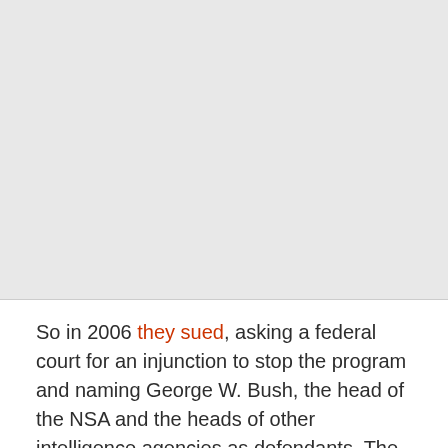[Figure (other): Large grey placeholder image area occupying the top portion of the page]
So in 2006 they sued, asking a federal court for an injunction to stop the program and naming George W. Bush, the head of the NSA and the heads of other intelligence agencies as defendants. The government